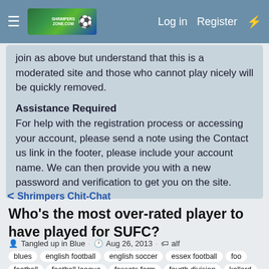≡  [logo]  Log in  Register  ⚡
join as above but understand that this is a moderated site and those who cannot play nicely will be quickly removed.
Assistance Required
For help with the registration process or accessing your account, please send a note using the Contact us link in the footer, please include your account name. We can then provide you with a new password and verification to get you on the site.
< Shrimpers Chit-Chat
Who's the most over-rated player to have played for SUFC?
Tangled up in Blue · Aug 26, 2013 · alf
blues
english football
english soccer
essex football
foo
football
football league
fossets farm
fourth division
kellard
league two
npower football league
real football
roots hall
shrimpers
soccer
southend
southend united